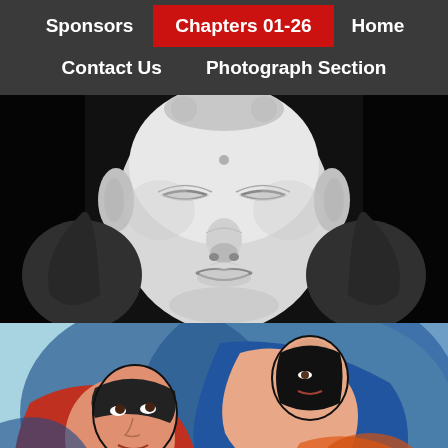Sponsors | Chapters 01-26 | Home | Contact Us | Photograph Section
[Figure (photo): Close-up black and white photograph of a serene Buddha statue face with closed eyes and a gentle expression]
[Figure (illustration): Colorful painting of two figures embracing, rendered in an expressionist/cubist style with red, orange, and blue tones]